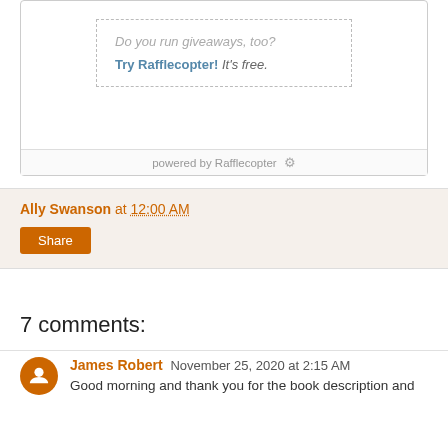[Figure (other): Rafflecopter giveaway widget with dotted border box saying 'Do you run giveaways, too? Try Rafflecopter! It's free.' and a 'powered by Rafflecopter' footer bar.]
Ally Swanson at 12:00 AM
Share
7 comments:
James Robert November 25, 2020 at 2:15 AM
Good morning and thank you for the book description and